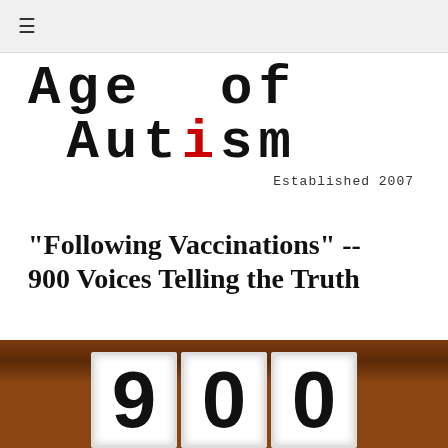≡
[Figure (logo): Age of Autism logo in typewriter-style font with red 'i' in Autism. Established 2007 subtitle.]
"Following Vaccinations" -- 900 Voices Telling the Truth
[Figure (photo): Close-up photograph of wooden number blocks showing large digits, with a rusty/aged metal surface visible at the top. Navigation arrows on left and right sides.]